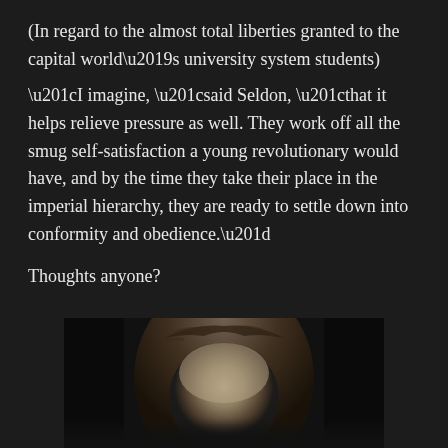(In regard to the almost total liberties granted to the capital world’s university system students)
“I imagine, “said Seldon, “that it helps relieve pressure as well. They work off all the smug self-satisfaction a young revolutionary would have, and by the time they take their place in the imperial hierarchy, they are ready to settle down into conformity and obedience.”
Thoughts anyone?
[Figure (photo): Black and white photograph of a person with curly/wavy hair, partially visible, head and upper shoulders, low-key lighting against dark background]